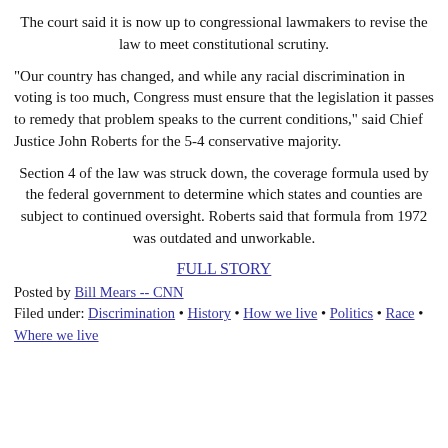The court said it is now up to congressional lawmakers to revise the law to meet constitutional scrutiny.
"Our country has changed, and while any racial discrimination in voting is too much, Congress must ensure that the legislation it passes to remedy that problem speaks to the current conditions," said Chief Justice John Roberts for the 5-4 conservative majority.
Section 4 of the law was struck down, the coverage formula used by the federal government to determine which states and counties are subject to continued oversight. Roberts said that formula from 1972 was outdated and unworkable.
FULL STORY
Posted by Bill Mears -- CNN
Filed under: Discrimination • History • How we live • Politics • Race • Where we live